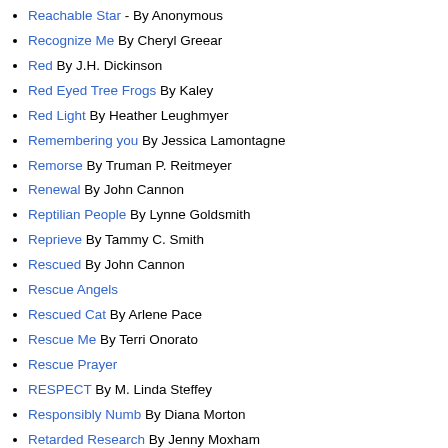Reachable Star - By Anonymous
Recognize Me By Cheryl Greear
Red By J.H. Dickinson
Red Eyed Tree Frogs By Kaley
Red Light By Heather Leughmyer
Remembering you By Jessica Lamontagne
Remorse By Truman P. Reitmeyer
Renewal By John Cannon
Reptilian People By Lynne Goldsmith
Reprieve By Tammy C. Smith
Rescued By John Cannon
Rescue Angels
Rescued Cat By Arlene Pace
Rescue Me By Terri Onorato
Rescue Prayer
RESPECT By M. Linda Steffey
Responsibly Numb By Diana Morton
Retarded Research By Jenny Moxham
Return From the Land of Denial By Kerry Phillips
Reverence for Wildlife By M. Butterfly Katz
Rhino Horns and Elephant Tusks By Amy
Ripples By John Cannon
Ritual By Brad Evans